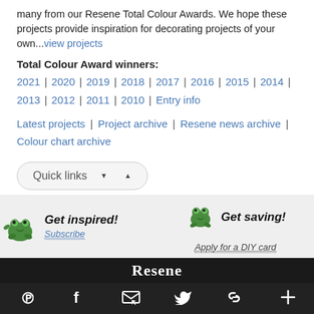many from our Resene Total Colour Awards. We hope these projects provide inspiration for decorating projects of your own...view projects
Total Colour Award winners:
2021 | 2020 | 2019 | 2018 | 2017 | 2016 | 2015 | 2014 | 2013 | 2012 | 2011 | 2010 | Entry info
Latest projects | Project archive | Resene news archive | Colour chart archive
Quick links
[Figure (infographic): Promotional banner with two green frog mascots. Left side: 'Get inspired! Subscribe' with a frog and dotted underline. Right side: 'Get saving!' with a frog and 'Apply for a DIY card' with dotted underline.]
[Figure (logo): Resene brand name in white serif bold text on dark background bar]
[Figure (infographic): Social media icons bar (Pinterest, Facebook, email/envelope, Twitter, links icon, plus icon) on dark background]